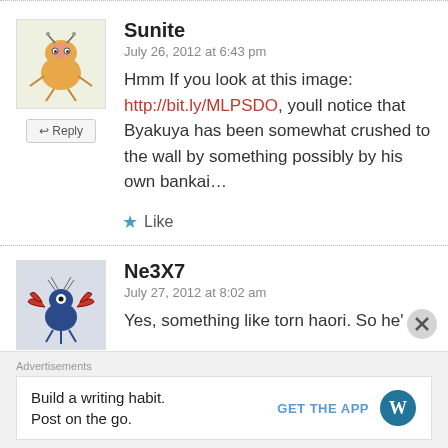Sunite
July 26, 2012 at 6:43 pm
Hmm If you look at this image: http://bit.ly/MLPSDO, youll notice that Byakuya has been somewhat crushed to the wall by something possibly by his own bankai…
Like
Ne3X7
July 27, 2012 at 8:02 am
Yes, something like torn haori. So he'
Advertisements
Build a writing habit.
Post on the go.
GET THE APP